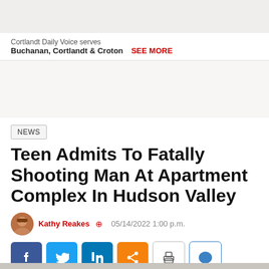Cortlandt Daily Voice serves Buchanan, Cortlandt & Croton  SEE MORE
NEWS
Teen Admits To Fatally Shooting Man At Apartment Complex In Hudson Valley
Kathy Reakes  05/14/2022 1:00 p.m.
[Figure (other): Social sharing buttons: Facebook, Twitter, LinkedIn, Share, Print, Comment]